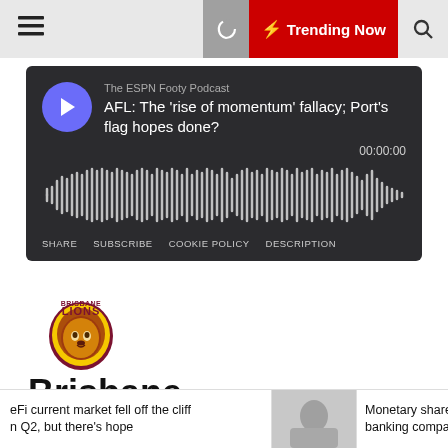Trending Now
[Figure (screenshot): ESPN Footy Podcast player widget with audio waveform, play button, title 'AFL: The rise of momentum fallacy; Port's flag hopes done?', timestamp 00:00:00, and links SHARE SUBSCRIBE COOKIE POLICY DESCRIPTION]
[Figure (logo): Brisbane Lions AFL team logo - lion head with 'BRISBANE LIONS' text]
Brisbane
eFi current market fell off the cliff n Q2, but there's hope
Monetary shares le banking companie